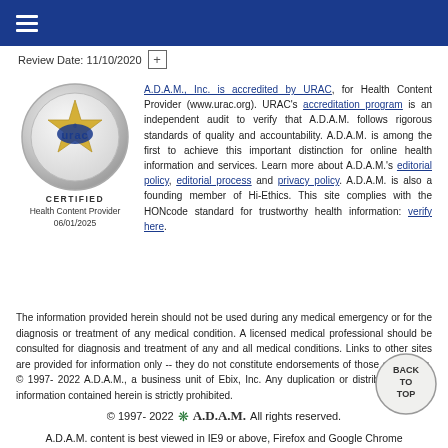Review Date: 11/10/2020
[Figure (logo): URAC Certified seal — circular silver badge with a gold star and 'urac' text in blue]
CERTIFIED
Health Content Provider
06/01/2025
A.D.A.M., Inc. is accredited by URAC, for Health Content Provider (www.urac.org). URAC's accreditation program is an independent audit to verify that A.D.A.M. follows rigorous standards of quality and accountability. A.D.A.M. is among the first to achieve this important distinction for online health information and services. Learn more about A.D.A.M.'s editorial policy, editorial process and privacy policy. A.D.A.M. is also a founding member of Hi-Ethics. This site complies with the HONcode standard for trustworthy health information: verify here.
The information provided herein should not be used during any medical emergency or for the diagnosis or treatment of any medical condition. A licensed medical professional should be consulted for diagnosis and treatment of any and all medical conditions. Links to other sites are provided for information only -- they do not constitute endorsements of those other sites. © 1997- 2022 A.D.A.M., a business unit of Ebix, Inc. Any duplication or distribution of the information contained herein is strictly prohibited.
[Figure (other): Back to Top circular button]
© 1997- 2022 A.D.A.M. All rights reserved.
A.D.A.M. content is best viewed in IE9 or above, Firefox and Google Chrome